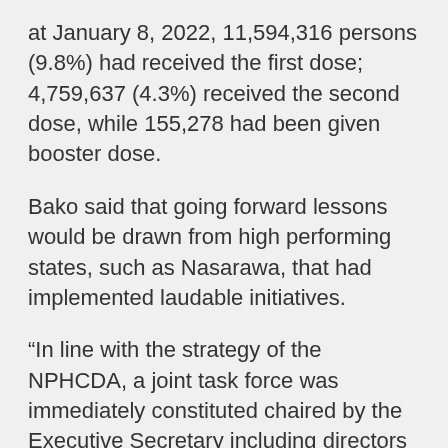at January 8, 2022, 11,594,316 persons (9.8%) had received the first dose; 4,759,637 (4.3%) received the second dose, while 155,278 had been given booster dose.
Bako said that going forward lessons would be drawn from high performing states, such as Nasarawa, that had implemented laudable initiatives.
“In line with the strategy of the NPHCDA, a joint task force was immediately constituted chaired by the Executive Secretary including directors of NAPHDA, the State Security Services, National Agency for Food and Drug Administration and Control (NAFDAC), Independent Corrupt Practices Commission